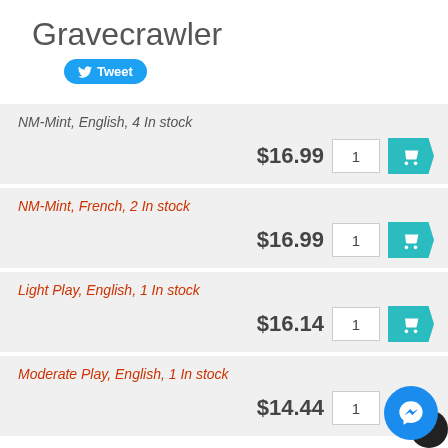Gravecrawler
[Figure (other): Twitter Tweet button (blue rounded rectangle with bird icon and 'Tweet' label)]
NM-Mint, English, 4 In stock
$16.99
NM-Mint, French, 2 In stock
$16.99
Light Play, English, 1 In stock
$16.14
Moderate Play, English, 1 In stock
$14.44